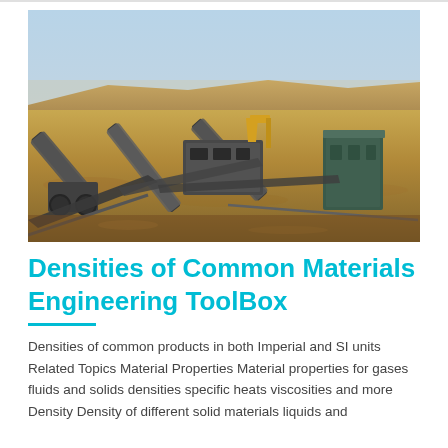[Figure (photo): Aerial view of an open-pit mining site with heavy industrial conveyor belt machinery and processing equipment set against a dry, arid landscape with a pale blue sky.]
Densities of Common Materials Engineering ToolBox
Densities of common products in both Imperial and SI units Related Topics Material Properties Material properties for gases fluids and solids densities specific heats viscosities and more Density Density of different solid materials liquids and